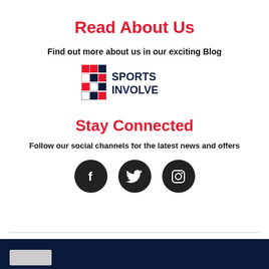Read About Us
Find out more about us in our exciting Blog
[Figure (logo): Sports Involve logo — red and blue stylized 'SI' icon with text 'SPORTS INVOLVE' in bold dark navy]
Stay Connected
Follow our social channels for the latest news and offers
[Figure (illustration): Three dark circular social media icons: Facebook (f), Twitter (bird), Instagram (camera outline)]